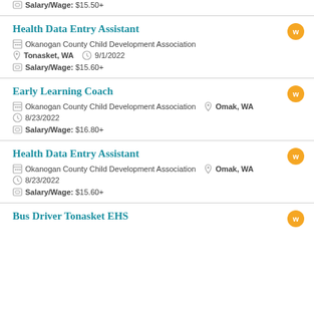Salary/Wage: $15.50+
Health Data Entry Assistant
Okanogan County Child Development Association
Tonasket, WA   9/1/2022
Salary/Wage: $15.60+
Early Learning Coach
Okanogan County Child Development Association   Omak, WA
8/23/2022
Salary/Wage: $16.80+
Health Data Entry Assistant
Okanogan County Child Development Association   Omak, WA
8/23/2022
Salary/Wage: $15.60+
Bus Driver Tonasket EHS